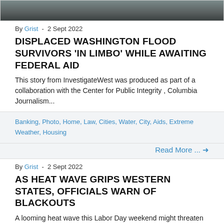[Figure (photo): Partial flood/water scene photo cropped at top of page]
By Grist - 2 Sept 2022
DISPLACED WASHINGTON FLOOD SURVIVORS 'IN LIMBO' WHILE AWAITING FEDERAL AID
This story from InvestigateWest was produced as part of a collaboration with the Center for Public Integrity , Columbia Journalism...
Banking, Photo, Home, Law, Cities, Water, City, Aids, Extreme Weather, Housing
Read More ...
By Grist - 2 Sept 2022
AS HEAT WAVE GRIPS WESTERN STATES, OFFICIALS WARN OF BLACKOUTS
A looming heat wave this Labor Day weekend might threaten Western states' power grids and their residents, with utilities already warning...